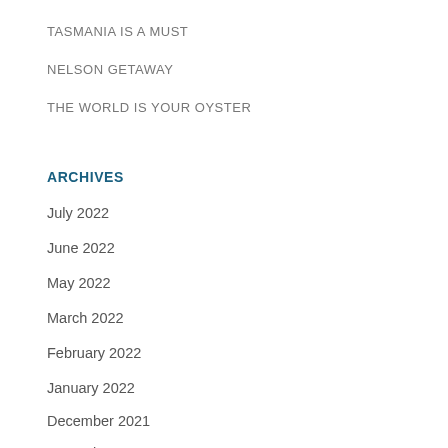TASMANIA IS A MUST
NELSON GETAWAY
THE WORLD IS YOUR OYSTER
ARCHIVES
July 2022
June 2022
May 2022
March 2022
February 2022
January 2022
December 2021
November 2021